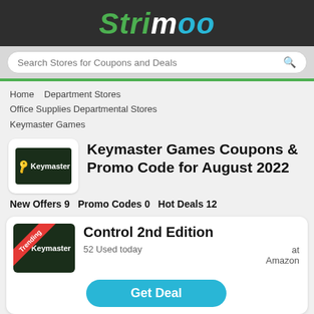Strimoo
Search Stores for Coupons and Deals
Home   Department Stores   Office Supplies Departmental Stores   Keymaster Games
Keymaster Games Coupons & Promo Code for August 2022
New Offers 9   Promo Codes 0   Hot Deals 12
Control 2nd Edition
52 Used today
at Amazon
Get Deal